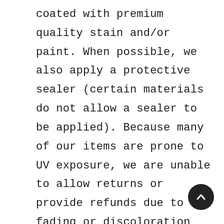coated with premium quality stain and/or paint. When possible, we also apply a protective sealer (certain materials do not allow a sealer to be applied). Because many of our items are prone to UV exposure, we are unable to allow returns or provide refunds due to fading or discoloration over any period of time. If you need some touch-up paint, please let us know. We are happy to help. Additionally, because we use real wood, cracks can happen. Unless it is damaged in transit and reported to us within 3 days of receiving your item we are unable to allow returns or refunds due to cracks over any